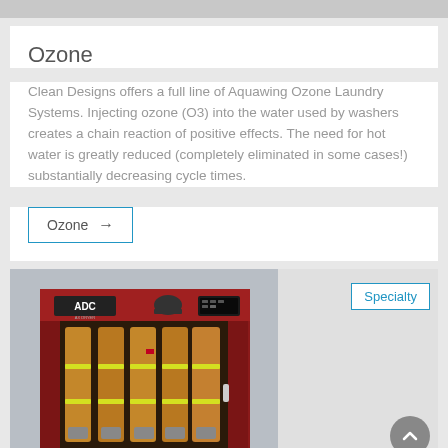Ozone
Clean Designs offers a full line of Aquawing Ozone Laundry Systems. Injecting ozone (O3) into the water used by washers creates a chain reaction of positive effects. The need for hot water is greatly reduced (completely eliminated in some cases!) substantially decreasing cycle times.
Ozone →
[Figure (photo): Red industrial cabinet (ADC brand) with open doors showing five firefighter turnout gear suits hanging inside with yellow reflective stripes]
Specialty